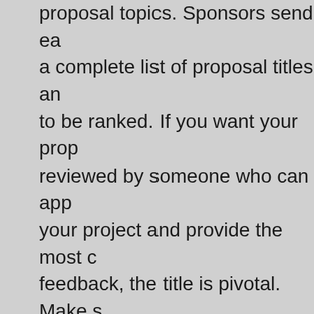proposal topics. Sponsors send each a complete list of proposal titles and to be ranked. If you want your proposal reviewed by someone who can appreciate your project and provide the most constructive feedback, the title is pivotal. Make sure concisely summarizing what the project is about.
2. Second, the same challenge of matching reviewers to proposals comes into play. Program Officers solicit reviews from ad hoc reviewers (i.e., reviewers who are not panelists). While program officers may be confident in the appropriateness of a reviewer for a given proposal, the